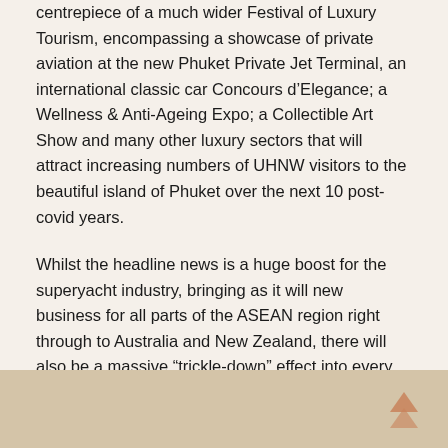centrepiece of a much wider Festival of Luxury Tourism, encompassing a showcase of private aviation at the new Phuket Private Jet Terminal, an international classic car Concours d'Elegance; a Wellness & Anti-Ageing Expo; a Collectible Art Show and many other luxury sectors that will attract increasing numbers of UHNW visitors to the beautiful island of Phuket over the next 10 post-covid years.
Whilst the headline news is a huge boost for the superyacht industry, bringing as it will new business for all parts of the ASEAN region right through to Australia and New Zealand, there will also be a massive “trickle-down” effect into every corner of the leisure boating industry and on-water lifestyle industries throughout the whole of Asia.
[Figure (photo): Partial view of an image at the bottom of the page, appearing to show a light tan/beige colored background, possibly a map or aerial view. A scroll-to-top arrow icon is visible in the bottom right corner.]